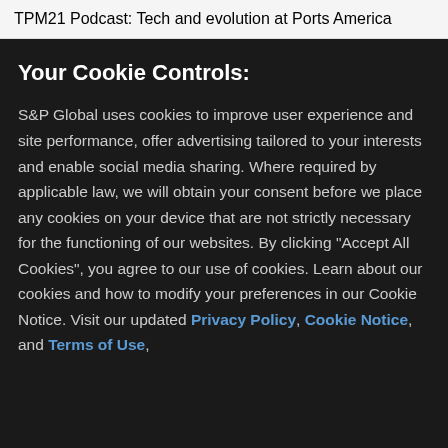TPM21 Podcast: Tech and evolution at Ports America
Your Cookie Controls:
S&P Global uses cookies to improve user experience and site performance, offer advertising tailored to your interests and enable social media sharing. Where required by applicable law, we will obtain your consent before we place any cookies on your device that are not strictly necessary for the functioning of our websites. By clicking "Accept All Cookies", you agree to our use of cookies. Learn about our cookies and how to modify your preferences in our Cookie Notice. Visit our updated Privacy Policy, Cookie Notice, and Terms of Use,